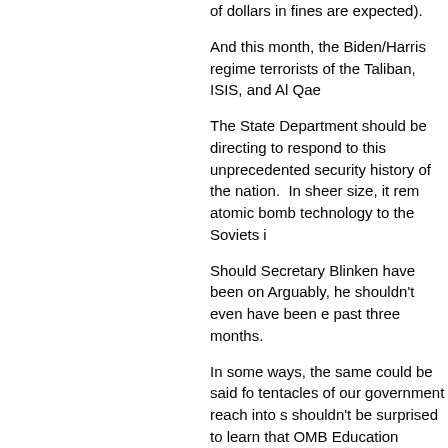of dollars in fines are expected).
And this month, the Biden/Harris regime terrorists of the Taliban, ISIS, and Al Qae
The State Department should be directing to respond to this unprecedented security history of the nation. In sheer size, it rem atomic bomb technology to the Soviets i
Should Secretary Blinken have been on Arguably, he shouldn't even have been e past three months.
In some ways, the same could be said for tentacles of our government reach into s shouldn't be surprised to learn that OMB Education probably all had some activities criminally disastrous drawdown and pull
But the leaders of the Armed Forces and most personnel, the most projects to wor to somehow either clear out or destroy b
And the idea that these cabinet secretari was crashing down only serves to highlig